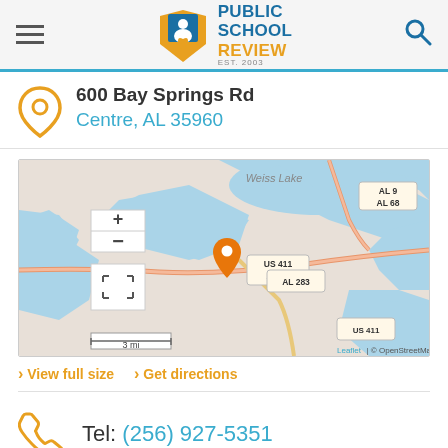Public School Review EST. 2003
600 Bay Springs Rd
Centre, AL 35960
[Figure (map): OpenStreetMap showing location near Weiss Lake, Centre AL. Roads: US 411, AL 68, AL 9, AL 283. Orange map pin marks school location. Zoom controls (+/-) and scale bar showing 3 mi. Attribution: Leaflet | © OpenStreetMap]
View full size   Get directions
Tel: (256) 927-5351